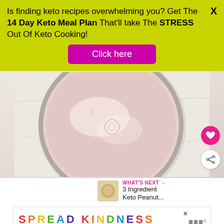Is finding keto recipes overwhelming you? Get The 14 Day Keto Meal Plan That'll take The STRESS Out Of Keto Cooking!
[Figure (other): Pink/magenta 'Click here' button on yellow-green background]
[Figure (photo): Top-down photo of a bowl containing a light pink creamy mixture on a marble surface]
WHAT'S NEXT → 3 Ingredient Keto Peanut...
[Figure (infographic): SPREAD KINDNESS NOT VIRUS colorful text advertisement banner]